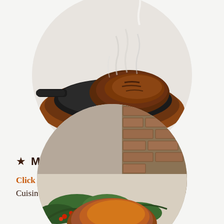[Figure (photo): A sizzling steak on a hot cast iron skillet with steam rising, placed on a round wooden board, shown in a circular cropped photo.]
★  MENU
Click here to view our delicious Global Comfort Cuisine!
[Figure (photo): A roasted turkey or chicken dish garnished with herbs, berries, and greens on a platter, in a circular cropped photo, partially visible at the bottom of the page.]